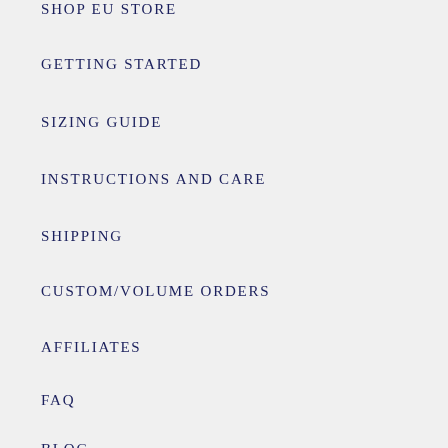SHOP EU STORE
GETTING STARTED
SIZING GUIDE
INSTRUCTIONS AND CARE
SHIPPING
CUSTOM/VOLUME ORDERS
AFFILIATES
FAQ
BLOG